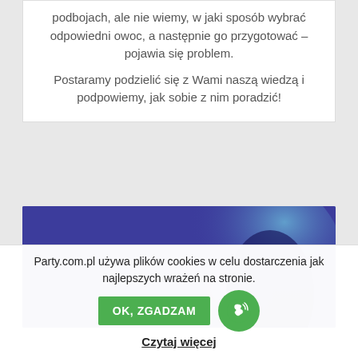podbojach, ale nie wiemy, w jaki sposób wybrać odpowiedni owoc, a następnie go przygotować – pojawia się problem.
Postaramy podzielić się z Wami naszą wiedzą i podpowiemy, jak sobie z nim poradzić!
[Figure (photo): Dark blue/purple gradient background image with an orange-yellow label 'Tworzenie eventów' in the top-left area.]
Party.com.pl używa plików cookies w celu dostarczenia jak najlepszych wrażeń na stronie.
OK, ZGADZAM
Czytaj więcej